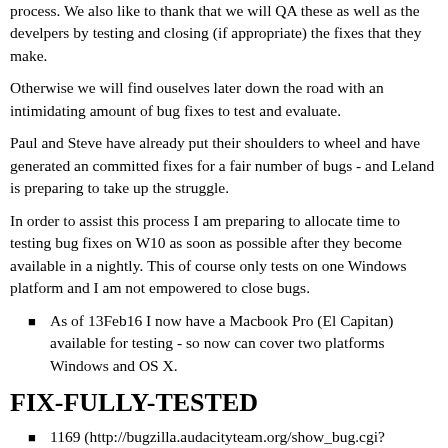process. We also like to thank that we will QA these as well as the develpers by testing and closing (if appropriate) the fixes that they make.
Otherwise we will find ouselves later down the road with an intimidating amount of bug fixes to test and evaluate.
Paul and Steve have already put their shoulders to wheel and have generated an committed fixes for a fair number of bugs - and Leland is preparing to take up the struggle.
In order to assist this process I am preparing to allocate time to testing bug fixes on W10 as soon as possible after they become available in a nightly. This of course only tests on one Windows platform and I am not empowered to close bugs.
As of 13Feb16 I now have a Macbook Pro (El Capitan) available for testing - so now can cover two platforms Windows and OS X.
FIX-FULLY-TESTED
1169 (http://bugzilla.audacityteam.org/show_bug.cgi?id=1169) P2: Spectrogram scale range setting only applied for linear scale - ok on Linux 02Feb16 too - and tests ok on El Capitan